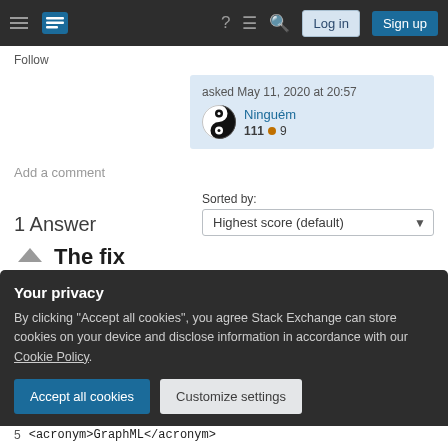Stack Exchange navigation bar with Log in and Sign up buttons
Follow
asked May 11, 2020 at 20:57
Ninguém
111 9
Add a comment
1 Answer
Sorted by: Highest score (default)
The fix
Your privacy
By clicking "Accept all cookies", you agree Stack Exchange can store cookies on your device and disclose information in accordance with our Cookie Policy.
Accept all cookies   Customize settings
<acronym>GraphML</acronym>